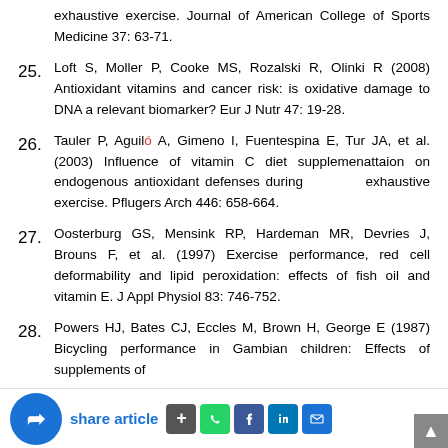exhaustive exercise. Journal of American College of Sports Medicine 37: 63-71.
25. Loft S, Moller P, Cooke MS, Rozalski R, Olinki R (2008) Antioxidant vitamins and cancer risk: is oxidative damage to DNA a relevant biomarker? Eur J Nutr 47: 19-28.
26. Tauler P, Aguiló A, Gimeno I, Fuentespina E, Tur JA, et al. (2003) Influence of vitamin C diet supplemenattaion on endogenous antioxidant defenses during exhaustive exercise. Pflugers Arch 446: 658-664.
27. Oosterburg GS, Mensink RP, Hardeman MR, Devries J, Brouns F, et al. (1997) Exercise performance, red cell deformability and lipid peroxidation: effects of fish oil and vitamin E. J Appl Physiol 83: 746-752.
28. Powers HJ, Bates CJ, Eccles M, Brown H, George E (1987) Bicycling performance in Gambian children: Effects of supplements of